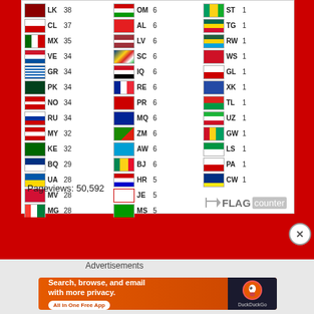| Flag | Code | Count |
| --- | --- | --- |
| LK | 38 |
| CL | 37 |
| MX | 35 |
| VE | 34 |
| GR | 34 |
| PK | 34 |
| NO | 34 |
| RU | 34 |
| MY | 32 |
| KE | 32 |
| BQ | 29 |
| UA | 28 |
| MV | 28 |
| MG | 28 |
| OM | 6 |
| AL | 6 |
| LV | 6 |
| SC | 6 |
| IQ | 6 |
| RE | 6 |
| PR | 6 |
| MQ | 6 |
| ZM | 6 |
| AW | 6 |
| BJ | 6 |
| HR | 5 |
| JE | 5 |
| MS | 5 |
| ST | 1 |
| TG | 1 |
| RW | 1 |
| WS | 1 |
| GL | 1 |
| XK | 1 |
| TL | 1 |
| UZ | 1 |
| GW | 1 |
| LS | 1 |
| PA | 1 |
| CW | 1 |
Pageviews:  50,592
[Figure (logo): FLAG counter logo]
Advertisements
[Figure (infographic): DuckDuckGo advertisement banner: Search, browse, and email with more privacy. All in One Free App]